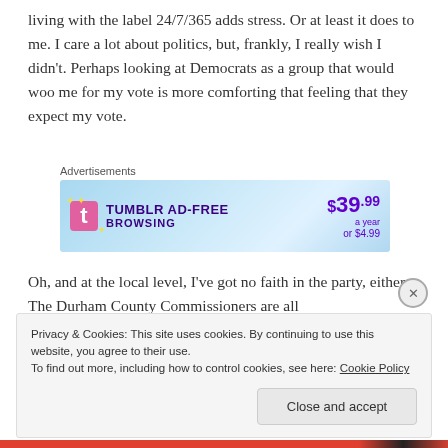living with the label 24/7/365 adds stress. Or at least it does to me. I care a lot about politics, but, frankly, I really wish I didn't. Perhaps looking at Democrats as a group that would woo me for my vote is more comforting that feeling that they expect my vote.
Advertisements
[Figure (other): Tumblr Ad-Free Browsing advertisement banner showing $39.99 a year or $4.99]
Oh, and at the local level, I've got no faith in the party, either. The Durham County Commissioners are all
Privacy & Cookies: This site uses cookies. By continuing to use this website, you agree to their use.
To find out more, including how to control cookies, see here: Cookie Policy
Close and accept